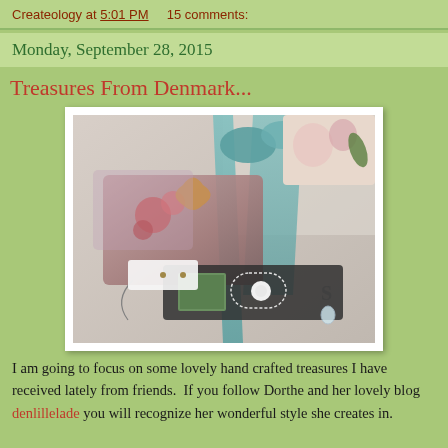Createology at 5:01 PM    15 comments:
Monday, September 28, 2015
Treasures From Denmark...
[Figure (photo): A handcrafted mixed-media jewelry piece or art tag with floral elements, ribbons in teal/green, decorative embellishments, lace, and a letter 'S' charm, displayed on a white surface]
I am going to focus on some lovely hand crafted treasures I have received lately from friends.  If you follow Dorthe and her lovely blog denlillelade you will recognize her wonderful style she creates in.